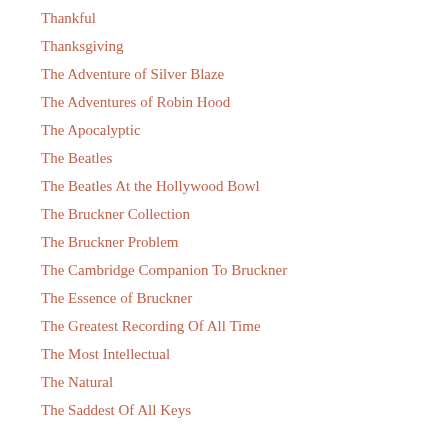Thankful
Thanksgiving
The Adventure of Silver Blaze
The Adventures of Robin Hood
The Apocalyptic
The Beatles
The Beatles At the Hollywood Bowl
The Bruckner Collection
The Bruckner Problem
The Cambridge Companion To Bruckner
The Essence of Bruckner
The Greatest Recording Of All Time
The Most Intellectual
The Natural
The Saddest Of All Keys